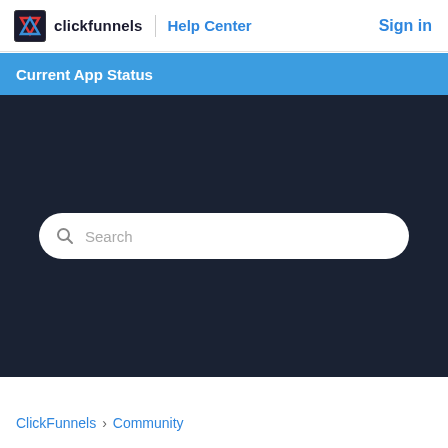clickfunnels | Help Center   Sign in
Current App Status
[Figure (screenshot): Dark hero section with a rounded white search bar containing a magnifying glass icon and placeholder text 'Search']
ClickFunnels > Community